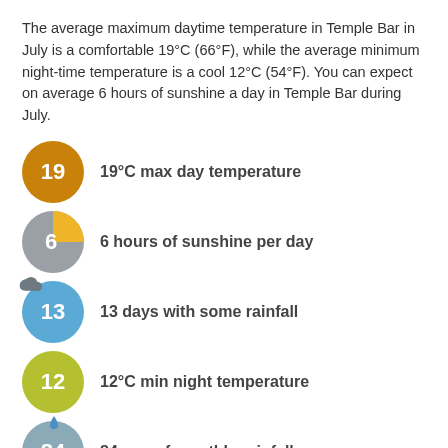The average maximum daytime temperature in Temple Bar in July is a comfortable 19°C (66°F), while the average minimum night-time temperature is a cool 12°C (54°F). You can expect on average 6 hours of sunshine a day in Temple Bar during July.
[Figure (infographic): Orange circle icon with number 19, label: 19°C max day temperature]
[Figure (infographic): Gray/yellow donut circle icon with number 6, label: 6 hours of sunshine per day]
[Figure (infographic): Blue circle icon with cloud and number 13, label: 13 days with some rainfall]
[Figure (infographic): Green/yellow circle icon with number 12, label: 12°C min night temperature]
[Figure (infographic): Gray/blue circle icon with raindrop and number 84, label: 84 mm of monthly rainfall]
On average 84 mm (3.3 inches) of rain normally falls in Temple Bar during July with rain falling on 13 days of the month.
Back to months